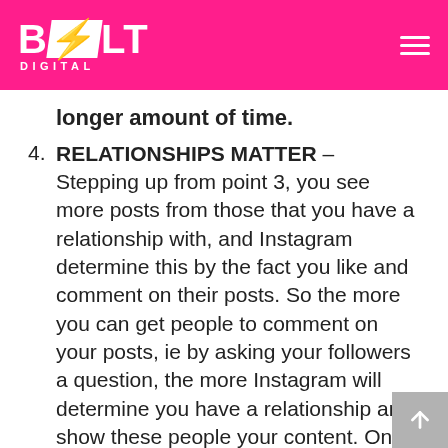BOLT DIGITAL
longer amount of time.
RELATIONSHIPS MATTER – Stepping up from point 3, you see more posts from those that you have a relationship with, and Instagram determine this by the fact you like and comment on their posts. So the more you can get people to comment on your posts, ie by asking your followers a question, the more Instagram will determine you have a relationship and show these people your content. One of the factors Instagram have said themselves determines who they show whose content to is: the likeliness you'll be interested in the content. If someone